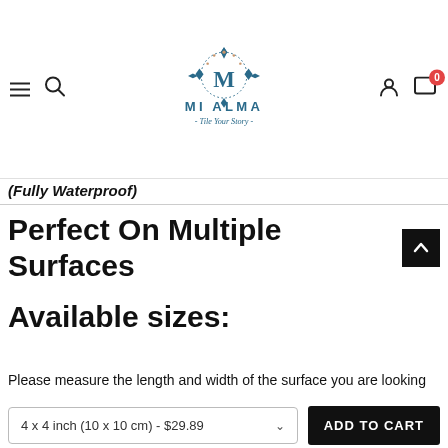[Figure (logo): Mi Alma - Tile Your Story logo with decorative M emblem in teal/blue colors]
(Fully Waterproof)
Perfect On Multiple Surfaces
Available sizes:
Please measure the length and width of the surface you are looking
4 x 4 inch (10 x 10 cm) - $29.89
ADD TO CART